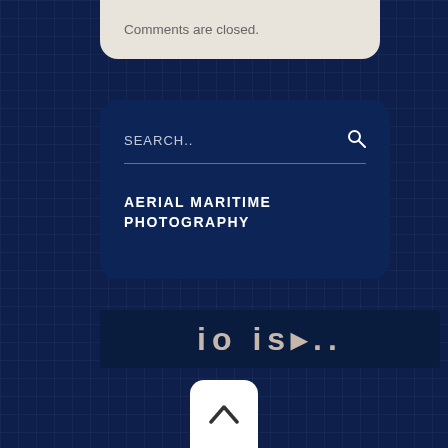Comments are closed.
SEARCH..
AERIAL MARITIME PHOTOGRAPHY
[Figure (photo): Partial image strip showing blurred/cropped text 'io is...' on dark navy background]
[Figure (other): Back to top button — white rounded rectangle with upward-pointing chevron/arrow]